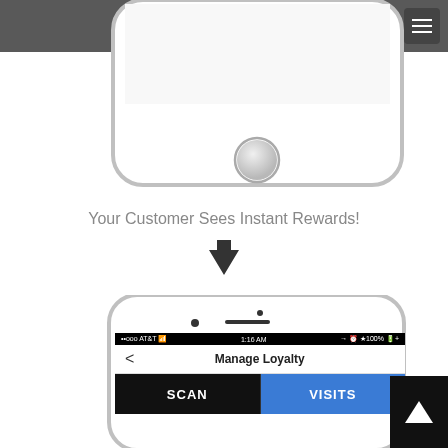THINAPP
[Figure (screenshot): Bottom portion of a white iPhone showing the home button and device body against a white background]
Your Customer Sees Instant Rewards!
[Figure (illustration): Downward pointing arrow]
[Figure (screenshot): Top portion of a white iPhone showing a Manage Loyalty app screen with status bar (AT&T, 1:16 AM, 100%), back arrow, Manage Loyalty title, and two tabs: SCAN (dark) and VISITS (blue)]